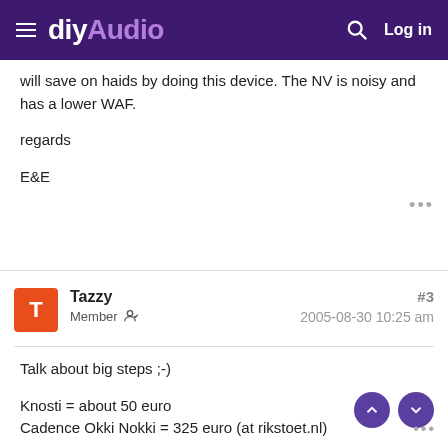diyAudio — Log in
will save on haids by doing this device. The NV is noisy and has a lower WAF.
regards
E&E
Tazzy
Member
#3
2005-08-30 10:25 am
Talk about big steps ;-)

Knosti = about 50 euro
Cadence Okki Nokki = 325 euro (at rikstoet.nl)